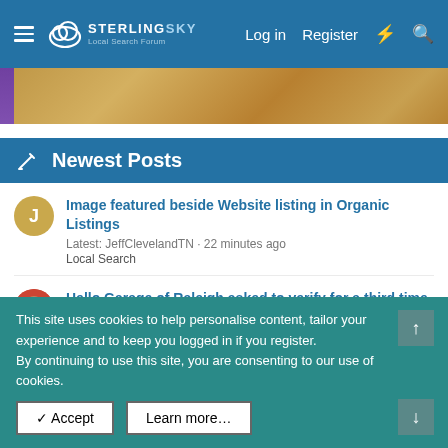Sterling Sky Local Search Forum — Log in | Register
[Figure (photo): Hero image strip showing a wooden table surface with a purple bar on the left edge]
Newest Posts
Image featured beside Website listing in Organic Listings
Latest: JeffClevelandTN · 22 minutes ago
Local Search
Hello Garage of Raleigh asked to verify for a third time.
Latest: keyserholiday · 46 minutes ago
Service Area Businesses
Important — How is the Useful Content Algorithm Update
This site uses cookies to help personalise content, tailor your experience and to keep you logged in if you register.
By continuing to use this site, you are consenting to our use of cookies.